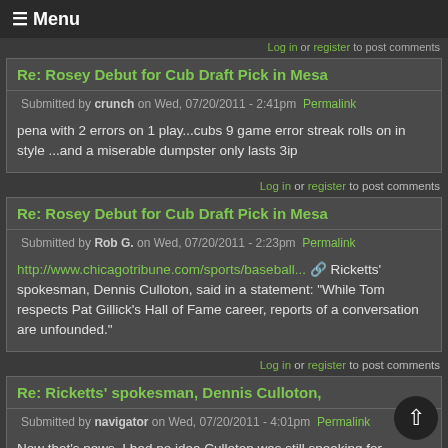☰ Menu
Log in or register to post comments
Re: Rosey Debut for Cub Draft Pick in Mesa
Submitted by crunch  on Wed, 07/20/2011 - 2:41pm  Permalink
pena with 2 errors on 1 play...cubs 9 game error streak rolls on in style ...and a miserable dumpster only lasts 3ip
Log in or register to post comments
Re: Rosey Debut for Cub Draft Pick in Mesa
Submitted by Rob G.  on Wed, 07/20/2011 - 2:23pm  Permalink
http://www.chicagotribune.com/sports/baseball... Ricketts' spokesman, Dennis Culloton, said in a statement: "While Tom respects Pat Gillick's Hall of Fame career, reports of a conversation are unfounded."
Log in or register to post comments
Re: Ricketts' spokesman, Dennis Culloton,
Submitted by navigator  on Wed, 07/20/2011 - 4:01pm  Permalink
Now that's news. I had no idea Culloton was still speaking for